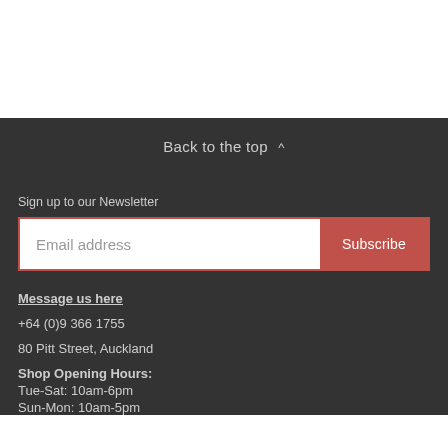Back to the top ^
Sign up to our Newsletter
Email address
Subscribe
Message us here
+64 (0)9 366 1755
80 Pitt Street, Auckland
Shop Opening Hours:
Tue-Sat: 10am-6pm
Sun-Mon: 10am-5pm